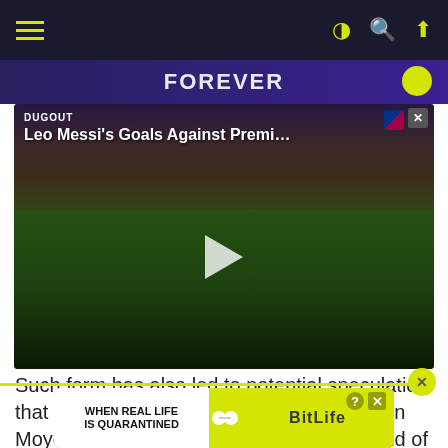Navigation bar with hamburger menu and icons
[Figure (screenshot): Video thumbnail showing Leo Messi's Goals Against Premier League opponents, with DUGOUT label and FC Barcelona crest. A play button is visible in the center over a football match scene.]
Such form has also led to potential speculation that the England international could well join Moyes' men on a permanent deal at the end of the season, although, as per the Sun, the east London club are set to be joined in the race for his signature by Arsenal
[Figure (screenshot): Advertisement banner for BitLife game reading WHEN REAL LIFE IS QUARANTINED with colorful gradient background and emoji mascot]